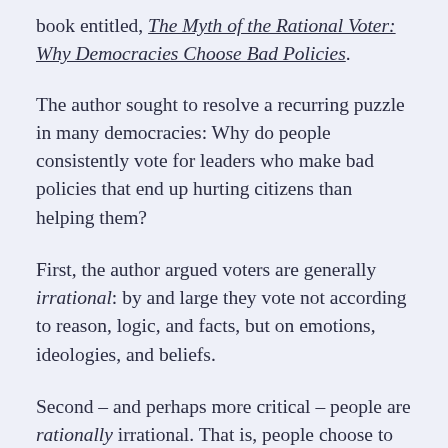book entitled, The Myth of the Rational Voter: Why Democracies Choose Bad Policies.
The author sought to resolve a recurring puzzle in many democracies: Why do people consistently vote for leaders who make bad policies that end up hurting citizens than helping them?
First, the author argued voters are generally irrational: by and large they vote not according to reason, logic, and facts, but on emotions, ideologies, and beliefs.
Second – and perhaps more critical – people are rationally irrational. That is, people choose to be irrational on issues or concerns that do not matter to them a lot, or those which they